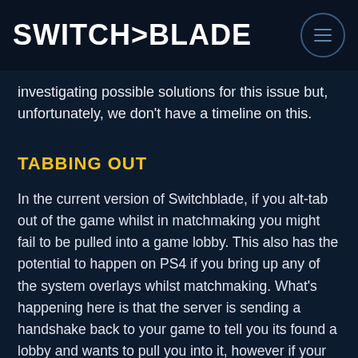SWITCH>BLADE
investigating possible solutions for this issue but, unfortunately, we don't have a timeline on this.
TABBING OUT
In the current version of Switchblade, if you alt-tab out of the game whilst in matchmaking you might fail to be pulled into a game lobby. This also has the potential to happen on PS4 if you bring up any of the system overlays whilst matchmaking. What's happening here is that the server is sending a handshake back to your game to tell you its found a lobby and wants to pull you into it, however if your game does not have focus/is not selected, the call won't successfully connect to the game so you might end up stuck in infinite matchmaking queues or experience an error. This will be fixed in our next